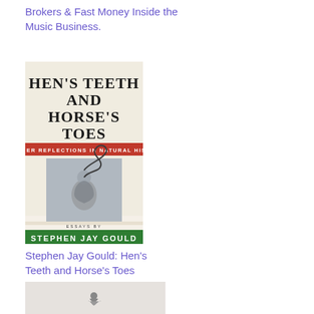Brokers & Fast Money Inside the Music Business.
[Figure (illustration): Book cover of 'Hen's Teeth and Horse's Toes: Further Reflections in Natural History' by Stephen Jay Gould. White background with large black bold serif text for the title, a red banner with white text for the subtitle, a gray box containing a Victorian-era engraving of a figure with a long curling snake or whip, and a green banner at the bottom with the author's name.]
Stephen Jay Gould: Hen's Teeth and Horse's Toes
[Figure (illustration): Partial view of another book cover with a light gray/white background showing a small figure of a person sitting or crouching, appears to be the beginning of another book listing.]